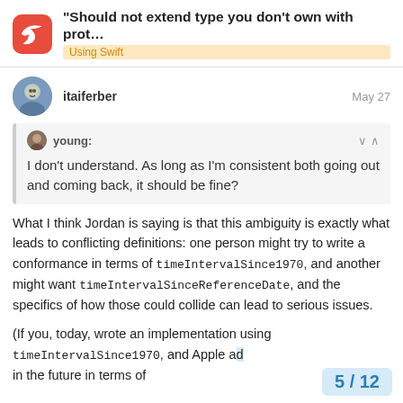“Should not extend type you don’t own with prot… | Using Swift
itaiferber
May 27
young:
I don’t understand. As long as I’m consistent both going out and coming back, it should be fine?
What I think Jordan is saying is that this ambiguity is exactly what leads to conflicting definitions: one person might try to write a conformance in terms of timeIntervalSince1970, and another might want timeIntervalSinceReferenceDate, and the specifics of how those could collide can lead to serious issues.
(If you, today, wrote an implementation using timeIntervalSince1970, and Apple ad… in the future in terms of
5 / 12